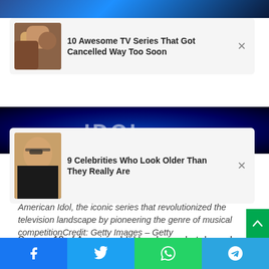[Figure (photo): Top image strip - blue/dark background partial view]
[Figure (screenshot): Notification card: '10 Awesome TV Series That Got Cancelled Way Too Soon' with close button]
[Figure (photo): Middle image strip - American Idol stage with blue lighting]
[Figure (screenshot): Notification card: '9 Celebrities Who Look Older Than They Really Are' with close button]
American Idol, the iconic series that revolutionized the television landscape by pioneering the genre of musical competitionCredit: Getty Images – Getty
Season 18 of American Idol has been shut down due to Covid-19 protocols, but it is the first competitive reality series to return to screens and broadcast remotely.
Using custom Zoom technology, contestants singing for